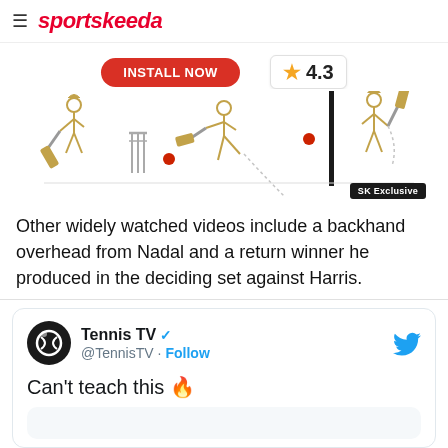sportskeeda
[Figure (infographic): App advertisement banner with INSTALL NOW button, 4.3 star rating, and cricket player illustrations in line-art style with 'SK Exclusive' label]
Other widely watched videos include a backhand overhead from Nadal and a return winner he produced in the deciding set against Harris.
Tennis TV @TennisTV · Follow
Can't teach this 🔥